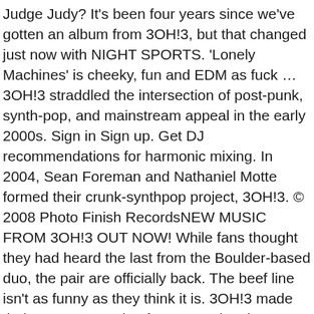Judge Judy? It's been four years since we've gotten an album from 3OH!3, but that changed just now with NIGHT SPORTS. 'Lonely Machines' is cheeky, fun and EDM as fuck … 3OH!3 straddled the intersection of post-punk, synth-pop, and mainstream appeal in the early 2000s. Sign in Sign up. Get DJ recommendations for harmonic mixing. In 2004, Sean Foreman and Nathaniel Motte formed their crunk-synthpop project, 3OH!3. © 2008 Photo Finish RecordsNEW MUSIC FROM 3OH!3 OUT NOW! While fans thought they had heard the last from the Boulder-based duo, the pair are officially back. The beef line isn't as funny as they think it is. 3OH!3 made their rec.... Fountain of Memes: The sheer prevalence of the "Nice legs, Daisy Dukes" format alone in the early 2010s is enough to underscore their memetic power. Founded in 2004, the duo is comprised of Sean Foreman and Nathaniel Motte, who met while attending the University of Colorado. Página Inicial. The pair have announced a headline show at The Academy on May 16, with tickets for 3OH!3 in Dublin going on sale this Friday at